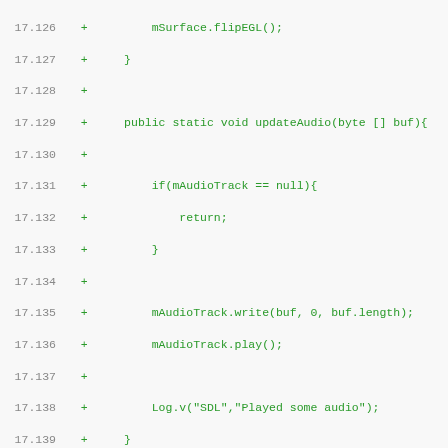[Figure (screenshot): Code diff screenshot showing Java source code lines 17.126 through 17.157, green text on light gray background, showing methods updateAudio and enableFeature with SDL logging, audio track handling, and feature flag checks.]